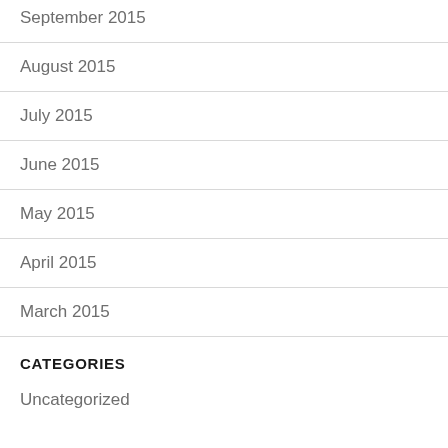September 2015
August 2015
July 2015
June 2015
May 2015
April 2015
March 2015
CATEGORIES
Uncategorized